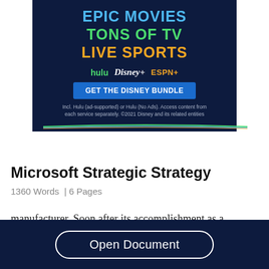[Figure (screenshot): Disney Bundle advertisement banner with dark navy background showing 'EPIC MOVIES', 'TONS OF TV', 'LIVE SPORTS' text and Hulu, Disney+, ESPN+ logos with 'GET THE DISNEY BUNDLE' button and fine print.]
Microsoft Strategic Strategy
1360 Words  | 6 Pages
manufacturer. Soon after its accomplishment as a
Open Document